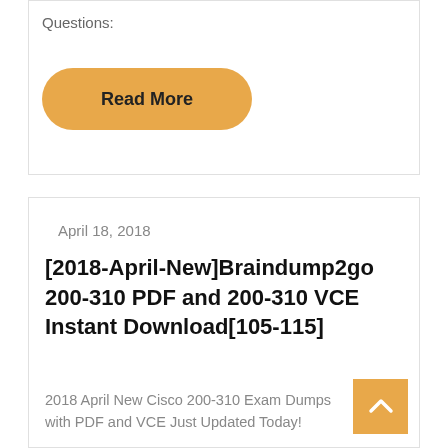Questions:
Read More
April 18, 2018
[2018-April-New]Braindump2go 200-310 PDF and 200-310 VCE Instant Download[105-115]
2018 April New Cisco 200-310 Exam Dumps with PDF and VCE Just Updated Today!